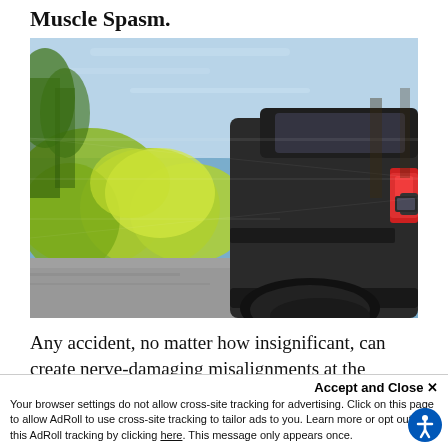Muscle Spasm.
[Figure (photo): A dark-colored SUV/car seen from behind at an angle, driving fast on a road with motion blur effect, trees and bushes visible on the side, blue sky in background.]
Any accident, no matter how insignificant, can create nerve-damaging misalignments at the moment of
Accept and Close ✕
Your browser settings do not allow cross-site tracking for advertising. Click on this page to allow AdRoll to use cross-site tracking to tailor ads to you. Learn more or opt out of this AdRoll tracking by clicking here. This message only appears once.